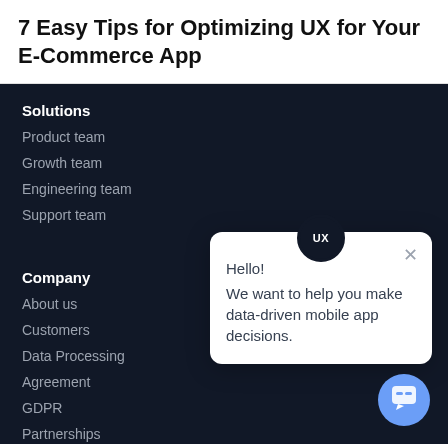7 Easy Tips for Optimizing UX for Your E-Commerce App
Solutions
Product team
Growth team
Engineering team
Support team
Company
About us
Customers
Data Processing
Agreement
GDPR
Partnerships
Press
Privacy policy
[Figure (screenshot): Chat popup widget with UX badge, close button, greeting 'Hello!' and message 'We want to help you make data-driven mobile app decisions.' with a blue chat button in the bottom right.]